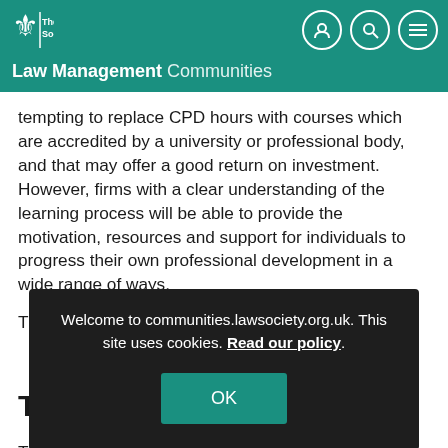The Law Society — Law Management Communities
tempting to replace CPD hours with courses which are accredited by a university or professional body, and that may offer a good return on investment. However, firms with a clear understanding of the learning process will be able to provide the motivation, resources and support for individuals to progress their own professional development in a wide range of ways.
[Figure (screenshot): Cookie consent overlay on communities.lawsociety.org.uk with text: Welcome to communities.lawsociety.org.uk. This site uses cookies. Read our policy. OK button in teal.]
There are excellent business reasons why a robust approach to individual and organisational performance should involve more